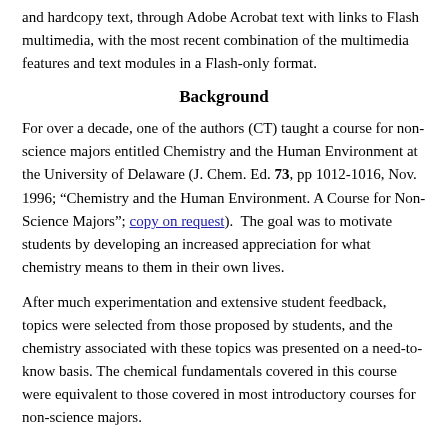and hardcopy text, through Adobe Acrobat text with links to Flash multimedia, with the most recent combination of the multimedia features and text modules in a Flash-only format.
Background
For over a decade, one of the authors (CT) taught a course for non-science majors entitled Chemistry and the Human Environment at the University of Delaware (J. Chem. Ed. 73, pp 1012-1016, Nov. 1996; “Chemistry and the Human Environment. A Course for Non-Science Majors”; copy on request).  The goal was to motivate students by developing an increased appreciation for what chemistry means to them in their own lives.
After much experimentation and extensive student feedback, topics were selected from those proposed by students, and the chemistry associated with these topics was presented on a need-to-know basis. The chemical fundamentals covered in this course were equivalent to those covered in most introductory courses for non-science majors.